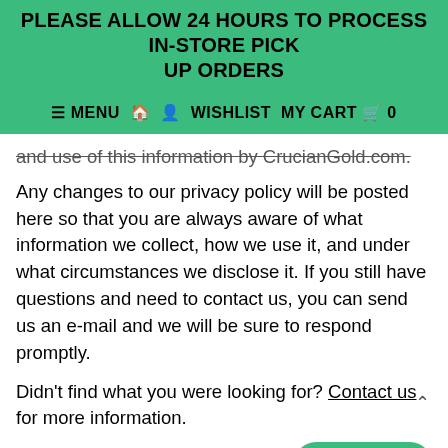PLEASE ALLOW 24 HOURS TO PROCESS IN-STORE PICK UP ORDERS
≡ MENU  🏠  👤  WISHLIST  MY CART  🛒  0
and use of this information by CrucianGold.com. Any changes to our privacy policy will be posted here so that you are always aware of what information we collect, how we use it, and under what circumstances we disclose it. If you still have questions and need to contact us, you can send us an e-mail and we will be sure to respond promptly.
Didn't find what you were looking for? Contact us for more information.
RETURNS
Returns